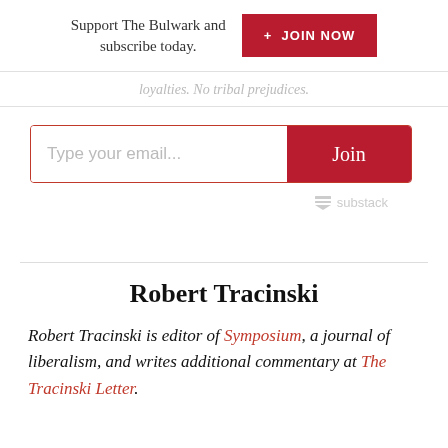Support The Bulwark and subscribe today. + JOIN NOW
loyalties. No tribal prejudices.
[Figure (other): Email subscription widget with text input 'Type your email...' and red 'Join' button, with Substack branding below]
Robert Tracinski
Robert Tracinski is editor of Symposium, a journal of liberalism, and writes additional commentary at The Tracinski Letter.